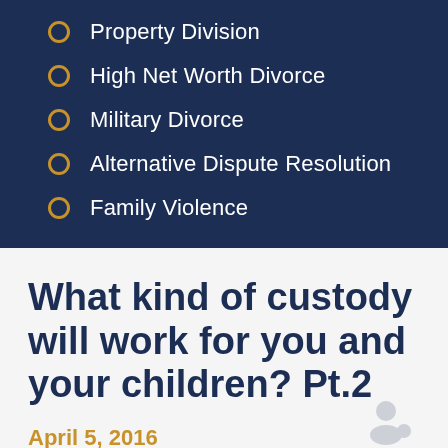Property Division
High Net Worth Divorce
Military Divorce
Alternative Dispute Resolution
Family Violence
What kind of custody will work for you and your children? Pt.2
April 5, 2016